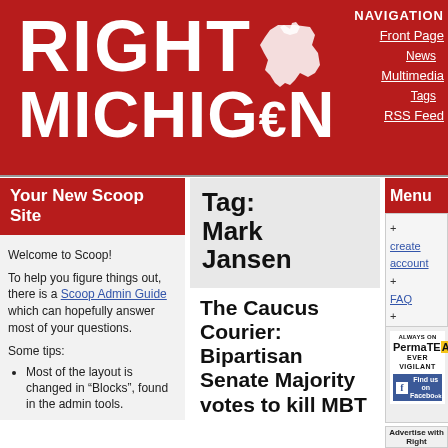[Figure (logo): Right Michigan website logo — large white bold text 'RIGHT MICHIGAN' on red background with Michigan state outline silhouette]
NAVIGATION
• Front Page
  • News
• Multimedia
  • Tags
• RSS Feed
Your New Scoop Site
Welcome to Scoop!

To help you figure things out, there is a Scoop Admin Guide which can hopefully answer most of your questions.

Some tips:
Most of the layout is changed in "Blocks", found in the admin tools.
Tag: Mark Jansen
The Caucus Courier: Bipartisan Senate Majority votes to kill MBT
Menu
+ create account
+ FAQ
+ Editorial Policy
+ Search
[Figure (logo): PermaTEA advertisement — text 'ALWAYS ON PermaTEA EVER VIGILANT' with Facebook 'Find us on Facebook' button]
Advertise with Right